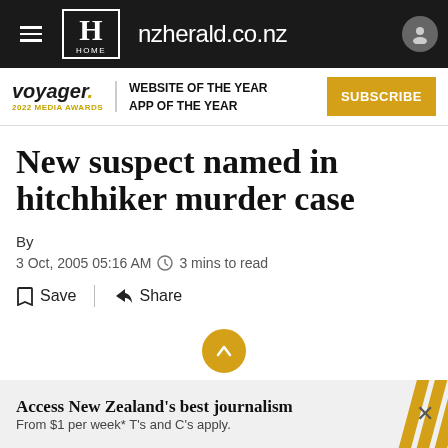nzherald.co.nz
[Figure (logo): Voyager 2022 Media Awards logo with text: WEBSITE OF THE YEAR, APP OF THE YEAR and SUBSCRIBE button]
New suspect named in hitchhiker murder case
By
3 Oct, 2005 05:16 AM  3 mins to read
Save  Share
Access New Zealand's best journalism From $1 per week* T's and C's apply.